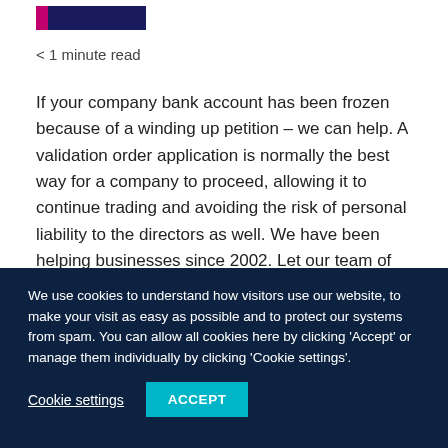[Figure (logo): Company logo bar with dark navy and magenta accent strip]
< 1 minute read
If your company bank account has been frozen because of a winding up petition – we can help. A validation order application is normally the best way for a company to proceed, allowing it to continue trading and avoiding the risk of personal liability to the directors as well. We have been helping businesses since 2002. Let our team of experts help you too.
We use cookies to understand how visitors use our website, to make your visit as easy as possible and to protect our systems from spam. You can allow all cookies here by clicking 'Accept' or manage them individually by clicking 'Cookie settings'.
Cookie settings
ACCEPT